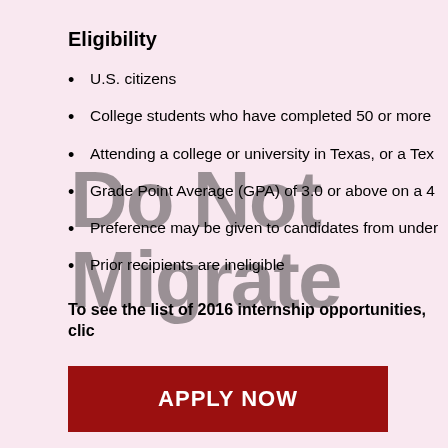Eligibility
U.S. citizens
College students who have completed 50 or more
Attending a college or university in Texas, or a Tex
Grade Point Average (GPA) of 3.0 or above on a 4
Preference may be given to candidates from under
Prior recipients are ineligible
To see the list of 2016 internship opportunities, clic
[Figure (other): APPLY NOW button — dark red rectangle with white bold uppercase text]